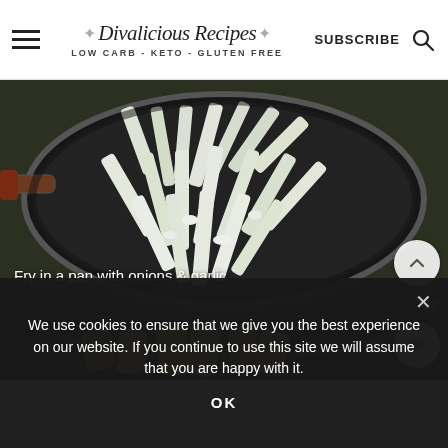Divalicious Recipes LOW CARB - KETO - GLUTEN FREE | SUBSCRIBE
[Figure (photo): Julienned white vegetables (fennel/kohlrabi sticks) in a dark frying pan, overhead view, with caption 'Fry in a pan with onions & garlic']
Fry in a pan with onions & garlic
[Figure (photo): Partial view of cooked golden/caramelized vegetables in a dark pan]
We use cookies to ensure that we give you the best experience on our website. If you continue to use this site we will assume that you are happy with it.
OK